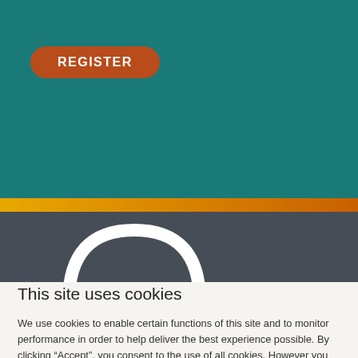[Figure (screenshot): Teal website header background with orange REGISTER button (pill-shaped), gold/orange horizontal bar, dark gray section with BAE logo (white arch/dome icon) partially visible]
This site uses cookies
We use cookies to enable certain functions of this site and to monitor performance in order to help deliver the best experience possible. By clicking “Accept”, you consent to the use of all cookies. However you may visit Cookie Settings to find out more and provide a granular consent.
Cookie settings
ACCEPT